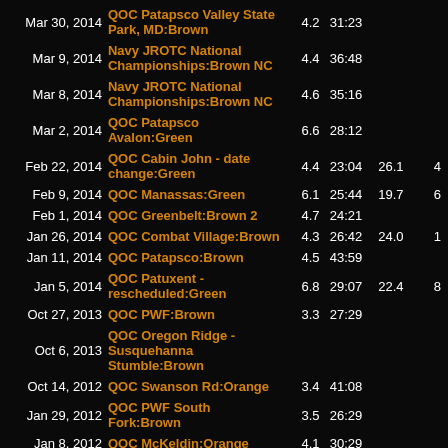| Date | Event | Col3 | Col4 | Col5 | Col6 |
| --- | --- | --- | --- | --- | --- |
| Mar 30, 2014 | QOC Patapsco Valley State Park, MD:Brown | 4.2 | 31:23 |  |  |
| Mar 9, 2014 | Navy JROTC National Championships:Brown NC | 4.4 | 36:48 |  |  |
| Mar 8, 2014 | Navy JROTC National Championships:Brown NC | 4.6 | 35:16 |  |  |
| Mar 2, 2014 | QOC Patapsco Avalon:Green | 6.6 | 28:12 |  |  |
| Feb 22, 2014 | QOC Cabin John - date change:Green | 4.4 | 23:04 | 26.1 | 4 |
| Feb 9, 2014 | QOC Manassas:Green | 6.1 | 25:44 | 19.7 | 6 |
| Feb 1, 2014 | QOC Greenbelt:Brown 2 | 4.7 | 24:21 |  |  |
| Jan 26, 2014 | QOC Combat Village:Brown | 4.3 | 26:42 | 24.0 | 1 |
| Jan 11, 2014 | QOC Patapsco:Brown | 4.5 | 43:59 |  |  |
| Jan 5, 2014 | QOC Patuxent - rescheduled:Green | 6.8 | 29:07 | 22.4 | 8 |
| Oct 27, 2013 | QOC PWF:Brown | 3.3 | 27:29 |  |  |
| Oct 6, 2013 | QOC Oregon Ridge - Susquehanna Stumble:Brown |  |  |  |  |
| Oct 14, 2012 | QOC Swanson Rd:Orange | 3.4 | 41:08 |  |  |
| Jan 29, 2012 | QOC PWF South Fork:Brown | 3.5 | 26:29 |  |  |
| Jan 8, 2012 | QOC McKeldin:Orange | 4.1 | 30:29 |  |  |